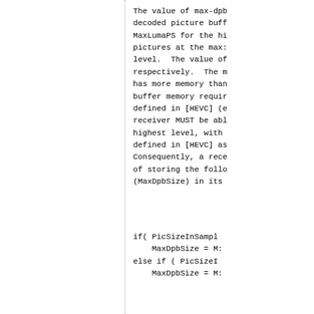The value of max-dpb decoded picture buff MaxLumaPS for the hi pictures at the max: level. The value of respectively. The m has more memory than buffer memory requi defined in [HEVC] (e receiver MUST be ab highest level, with defined in [HEVC] as Consequently, a rece of storing the follo (MaxDpbSize) in its
if( PicSizeInSampl    MaxDpbSize = M: else if ( PicSizeI    MaxDpbSize = M: